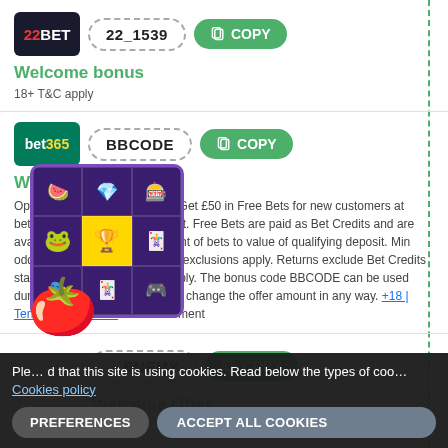[Figure (screenshot): 22bet logo - dark background with red 22 and white BET text]
22_1539
COPY
Welcome bonus
18+ T&C apply
[Figure (screenshot): bet365 logo - green background with white bet and yellow 365 text]
BBCODE
COPY
Welcome offer
Open Account Offer Bet £10 & Get £50 in Free Bets for new customers at bet365. Min deposit requirement. Free Bets are paid as Bet Credits and are available for use upon settlement of bets to value of qualifying deposit. Min odds, bet and payment method exclusions apply. Returns exclude Bet Credits stake. Time limits and T&Cs apply. The bonus code BBCODE can be used during registration, but does not change the offer amount in any way. +18 | Terms & Conditions #Advertisement
[Figure (screenshot): Slot game overlay with colorful symbols grid and tomato character]
ENEMY
COPY
Welcome Offer
Please note that this site is using cookies. Read below the types of cookies policy
PREFERENCES
ACCEPT ALL COOKIES